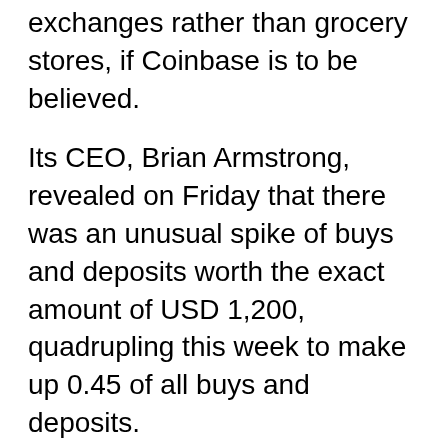exchanges rather than grocery stores, if Coinbase is to be believed.
Its CEO, Brian Armstrong, revealed on Friday that there was an unusual spike of buys and deposits worth the exact amount of USD 1,200, quadrupling this week to make up 0.45 of all buys and deposits.
https://twitter.com/brian_armstrong/status/1256...
For sure, this is still firmly in the real of speculation, since it is, without further details from the exchange, impossible to tell if these really are Americans depositing checks, or if they are even buying crypto, since they could simply be depositing money there. But another exchange, Binance US, also confirmed the